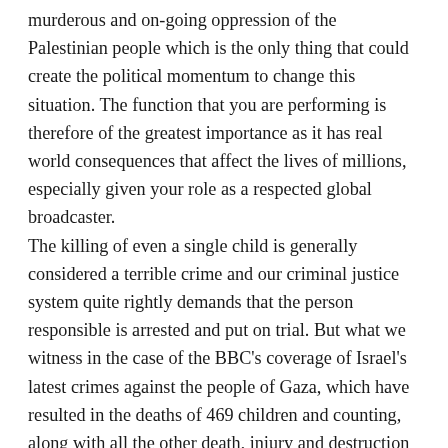murderous and on-going oppression of the Palestinian people which is the only thing that could create the political momentum to change this situation. The function that you are performing is therefore of the greatest importance as it has real world consequences that affect the lives of millions, especially given your role as a respected global broadcaster. The killing of even a single child is generally considered a terrible crime and our criminal justice system quite rightly demands that the person responsible is arrested and put on trial. But what we witness in the case of the BBC's coverage of Israel's latest crimes against the people of Gaza, which have resulted in the deaths of 469 children and counting, along with all the other death, injury and destruction created by this murderous onslaught against a defenceless civilian population, is tantamount to rigged trial in which the wealthy and well-connected defendant has already paid off the judge and jury. In fact, the defendant in this case has done even better than that – he's somehow managed to pay off the Prosecuting counsel, so that the majority of charges that can